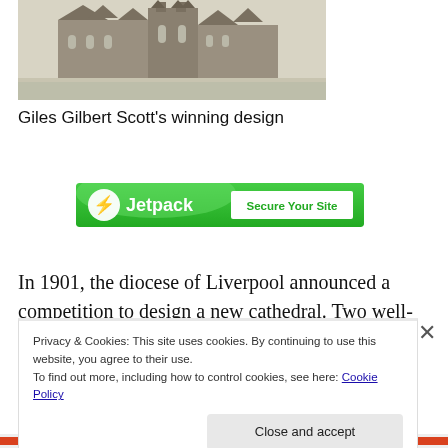[Figure (photo): Architectural drawing/engraving of a large Gothic cathedral design by Giles Gilbert Scott]
Giles Gilbert Scott’s winning design
[Figure (other): Advertisements banner: Jetpack 'Secure Your Site' ad on green background]
In 1901, the diocese of Liverpool announced a competition to design a new cathedral. Two well-known architects were
Privacy & Cookies: This site uses cookies. By continuing to use this website, you agree to their use.
To find out more, including how to control cookies, see here: Cookie Policy
Close and accept